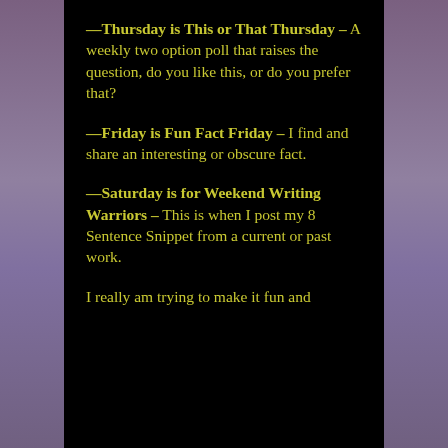—Thursday is This or That Thursday – A weekly two option poll that raises the question, do you like this, or do you prefer that?
—Friday is Fun Fact Friday – I find and share an interesting or obscure fact.
—Saturday is for Weekend Writing Warriors – This is when I post my 8 Sentence Snippet from a current or past work.
I really am trying to make it fun and